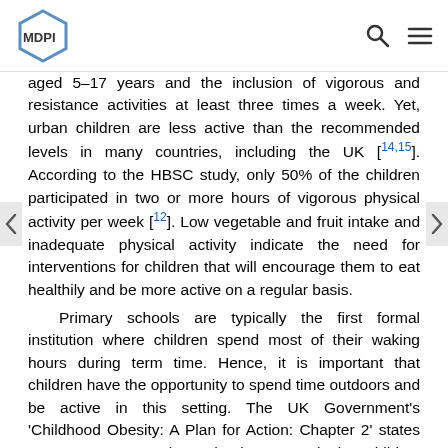MDPI
aged 5–17 years and the inclusion of vigorous and resistance activities at least three times a week. Yet, urban children are less active than the recommended levels in many countries, including the UK [14,15]. According to the HBSC study, only 50% of the children participated in two or more hours of vigorous physical activity per week [12]. Low vegetable and fruit intake and inadequate physical activity indicate the need for interventions for children that will encourage them to eat healthily and be more active on a regular basis.
Primary schools are typically the first formal institution where children spend most of their waking hours during term time. Hence, it is important that children have the opportunity to spend time outdoors and be active in this setting. The UK Government's 'Childhood Obesity: A Plan for Action: Chapter 2' states "We must ensure that schools are equipping children with the knowledge they need to lead healthy lifestyles and creating environments which encourage their pupils to eat healthily and be physically active (page 27)" [16]. Again, physical activity and spending time outdoors is positively associated with mental